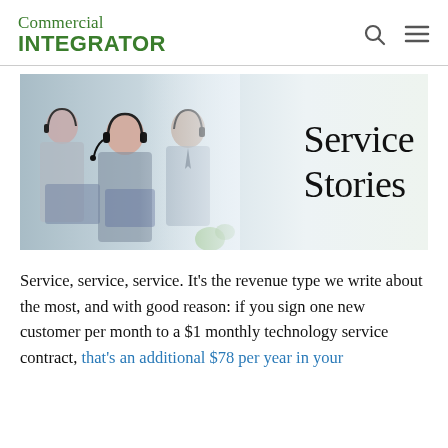Commercial INTEGRATOR
[Figure (photo): Banner image with call center workers wearing headsets on the left side, and the text 'Service Stories' in large serif font on the right side against a light gray/white background.]
Service, service, service. It's the revenue type we write about the most, and with good reason: if you sign one new customer per month to a $1 monthly technology service contract, that's an additional $78 per year in your